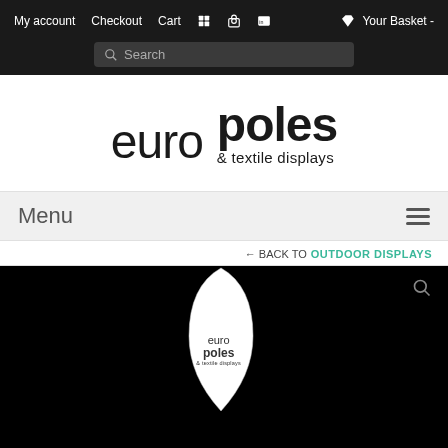My account   Checkout   Cart   Your Basket -
[Figure (logo): Euro Poles & textile displays logo — 'euro' in light weight large font, 'poles' in bold large font, '& textile displays' tagline below]
Menu
← BACK TO OUTDOOR DISPLAYS
[Figure (photo): Product photo: white feather/teardrop banner flag with Euro Poles & textile displays logo printed on it, displayed against a black background]